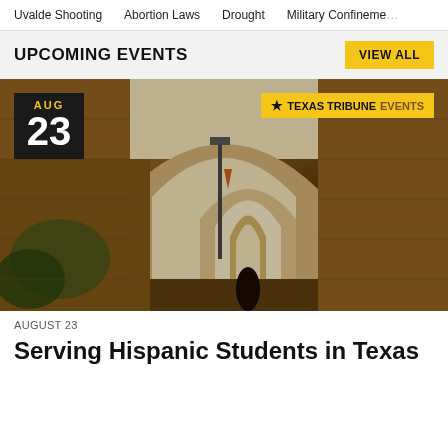Uvalde Shooting   Abortion Laws   Drought   Military Confinement
UPCOMING EVENTS
[Figure (photo): Arched brick corridor/hallway of a university building with repeating archways receding into the distance, warm tones, with a date badge showing AUG 23 and a Texas Tribune Events badge.]
AUGUST 23
Serving Hispanic Students in Texas